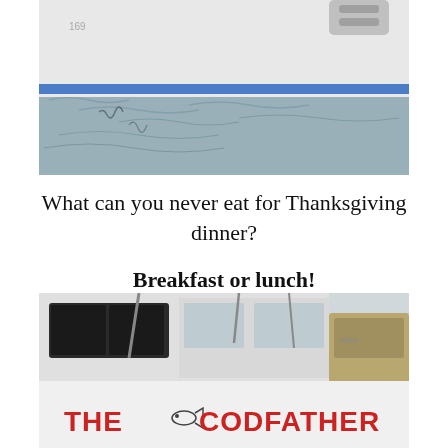[Figure (photo): Close-up photo of the side of a white boat hull with a blue stripe near the waterline, with rippling water visible below]
What can you never eat for Thanksgiving dinner?

Breakfast or lunch!
[Figure (photo): Photo of a white boat named 'THE CODFATHER' with red lettering and a fish graphic, docked at a marina]